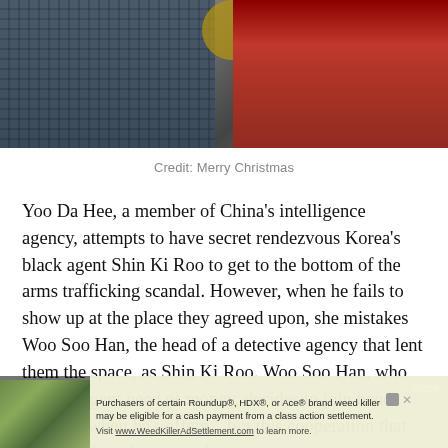[Figure (photo): A man in a dark plaid suit and a woman in a red dress standing together, photo from the show 'Merry Christmas']
Credit: Merry Christmas
Yoo Da Hee, a member of China's intelligence agency, attempts to have secret rendezvous Korea's black agent Shin Ki Roo to get to the bottom of the arms trafficking scandal. However, when he fails to show up at the place they agreed upon, she mistakes Woo Soo Han, the head of a detective agency that lent them the space, as Shin Ki Roo. Woo Soo Han, who was in urgent need of money, decides to join hands with her when he's offered, but this cooperation that started off on the wrong foot